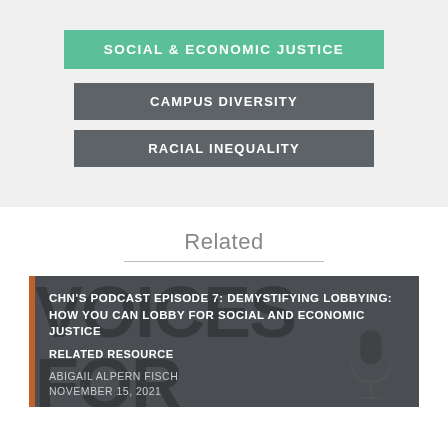SOCIAL & ECONOMIC JUSTICE
CAMPUS DIVERSITY
RACIAL INEQUALITY
Related
[Figure (illustration): Card thumbnail with dark background showing podcast microphone silhouette and 'VOICES FOR' text watermark]
CHN'S PODCAST EPISODE 7: DEMYSTIFYING LOBBYING: HOW YOU CAN LOBBY FOR SOCIAL AND ECONOMIC JUSTICE
RELATED RESOURCE
ABIGAIL ALPERN FISCH
NOVEMBER 15, 2021